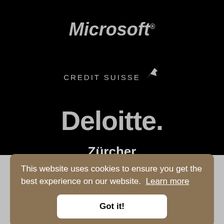[Figure (logo): Microsoft logo in italic bold grey text on black background]
[Figure (logo): Credit Suisse logo in grey spaced uppercase letters with arrow graphic on black background]
[Figure (logo): Deloitte. logo in large bold grey text on black background]
[Figure (logo): Zürcher Kantonalbank logo in bold grey text on black background]
This website uses cookies to ensure you get the best experience on our website.  Learn more
Got it!